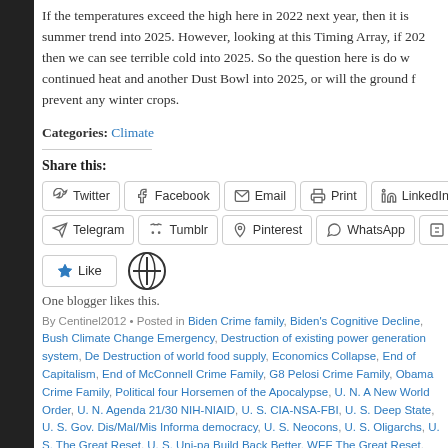If the temperatures exceed the high here in 2022 next year, then it is summer trend into 2025. However, looking at this Timing Array, if 202 then we can see terrible cold into 2025. So the question here is do w continued heat and another Dust Bowl into 2025, or will the ground f prevent any winter crops.
Categories: Climate
Share this:
Twitter Facebook Email Print LinkedIn Telegram Tumblr Pinterest WhatsApp Po...
Like
One blogger likes this.
By Centinel2012 • Posted in Biden Crime family, Biden's Cognitive Decline, Bush Climate Change Emergency, Destruction of existing power generation system, De Destruction of world food supply, Economics Collapse, End of Capitalism, End of McConnell Crime Family, G8 Pelosi Crime Family, Obama Crime Family, Political four Horsemen of the Apocalypse, U. N. A New World Order, U. N. Agenda 21/30 NIH-NIAID, U. S. CIA-NSA-FBI, U. S. Deep State, U. S. Gov. Dis/Mal/Mis Informa democracy, U. S. Neocons, U. S. Oligarchs, U. S. The Great Reset, U. S. Uni-pa Build Back Better, WEF The Great Reset, WEF Young Global Leaders, World Ec